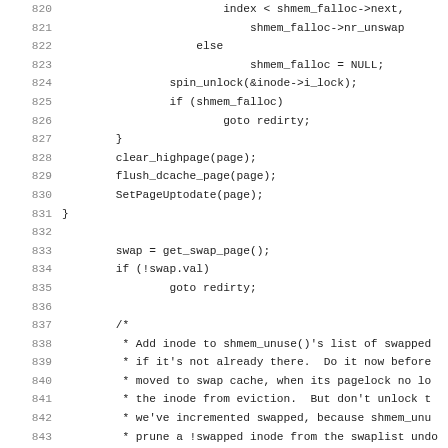[Figure (other): Source code listing (C kernel code) showing lines 820-851, including shmem_falloc logic, swap page allocation, mutex locking, and swap cache operations.]